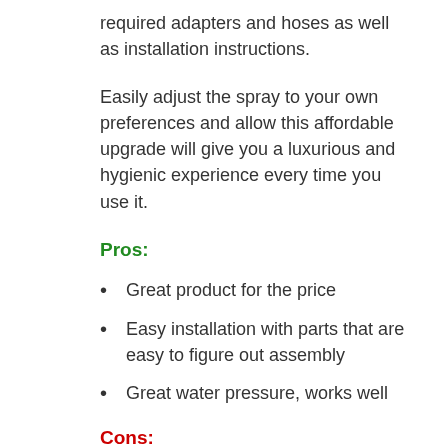required adapters and hoses as well as installation instructions.
Easily adjust the spray to your own preferences and allow this affordable upgrade will give you a luxurious and hygienic experience every time you use it.
Pros:
Great product for the price
Easy installation with parts that are easy to figure out assembly
Great water pressure, works well
Cons: